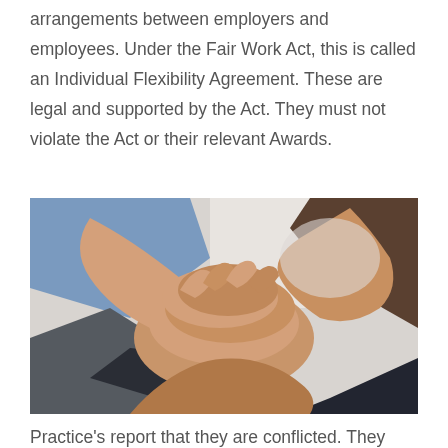arrangements between employers and employees. Under the Fair Work Act, this is called an Individual Flexibility Agreement. These are legal and supported by the Act. They must not violate the Act or their relevant Awards.
[Figure (photo): Multiple diverse hands stacked together in a team unity gesture against a light background.]
Practice's report that they are conflicted. They fear they will be disadvantaged by training providers if they do not toe the line. Furthermore, that they risk failing